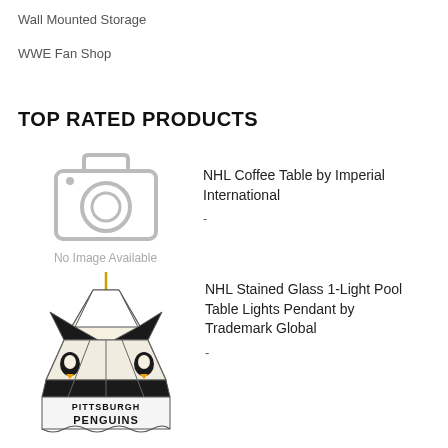Wall Mounted Storage
WWE Fan Shop
TOP RATED PRODUCTS
[Figure (other): No Image Available placeholder with camera icon]
NHL Coffee Table by Imperial International
-
[Figure (photo): Pittsburgh Penguins NHL Stained Glass 1-Light Pool Table Lights Pendant lamp photo]
NHL Stained Glass 1-Light Pool Table Lights Pendant by Trademark Global
-